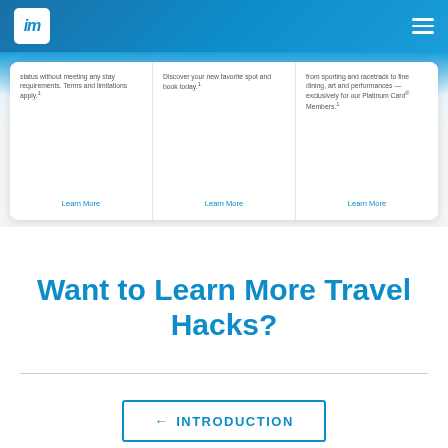im [logo] [hamburger menu]
status without meeting any stay requirements. Terms and limitations apply.
Discover your new favorite spot and book today.
from sporting and racetrack to fine dining, art and performances — exclusively for our Platinum Card Members.
Learn More
Learn More
Learn More
Want to Learn More Travel Hacks?
← INTRODUCTION